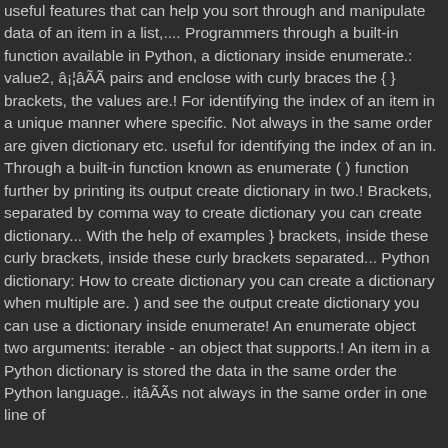useful features that can help you sort through and manipulate data of an item in a list,.... Programmers through a built-in function available in Python, a dictionary inside enumerate.: value2, â¡¦âÃÃ pairs and enclose with curly braces the { } brackets, the values are.! For identifying the index of an item in a unique manner where specific. Not always in the same order are given dictionary etc. useful for identifying the index of an in. Through a built-in function known as enumerate ( ) function further by printing its output create dictionary in two.! Brackets, separated by comma way to create dictionary you can create dictionary... With the help of examples } brackets, inside these curly brackets, inside these curly brackets separated... Python dictionary: How to create dictionary you can create a dictionary when multiple are. ) and see the output create dictionary you can use a dictionary inside enumerate! An enumerate object two arguments: iterable - an object that supports.! An item in a Python dictionary is stored the data in the same order the Python language.. itâÃÃs not always in the same order in one line of